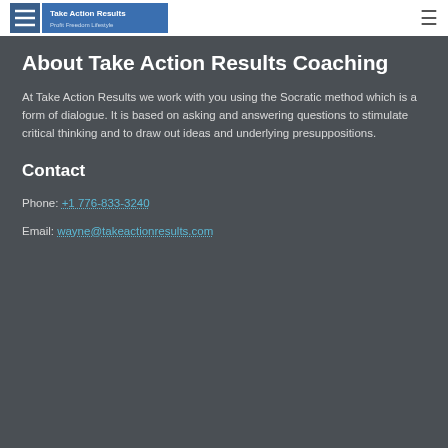Take Action Results - Profit Freedom Lifestyle
About Take Action Results Coaching
At Take Action Results we work with you using the Socratic method which is a form of dialogue. It is based on asking and answering questions to stimulate critical thinking and to draw out ideas and underlying presuppositions.
Contact
Phone: +1 776-833-3240
Email: wayne@takeactionresults.com